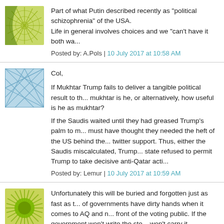[Figure (illustration): Green sunburst/geometric avatar icon]
Part of what Putin described recently as "political schizophrenia" of the USA.
Life in general involves choices and we "can't have it both wa...
Posted by: A.Pols | 10 July 2017 at 10:58 AM
[Figure (illustration): Blue geometric/crystal pattern avatar icon]
Col,

If Mukhtar Trump fails to deliver a tangible political result to th... mukhtar is he, or alternatively, how useful is he as mukhtar?

If the Saudis waited until they had greased Trump's palm to m... must have thought they needed the heft of the US behind the... twitter support. Thus, either the Saudis miscalculated, Trump... state refused to permit Trump to take decisive anti-Qatar acti...
Posted by: Lemur | 10 July 2017 at 10:59 AM
[Figure (illustration): Green circle with radiating lines/sunburst avatar icon]
Unfortunately this will be buried and forgotten just as fast as t... of governments have dirty hands when it comes to AQ and n... front of the voting public. If the government won't write the sto... won't carry it.